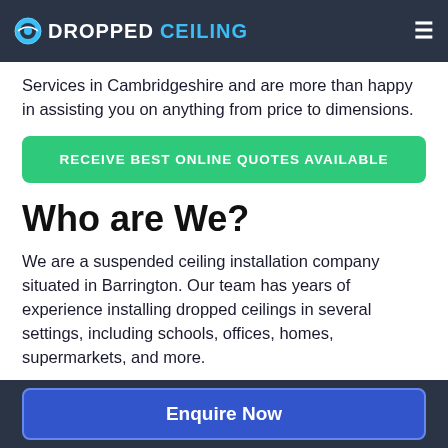DROPPEDCEILING
Services in Cambridgeshire and are more than happy in assisting you on anything from price to dimensions.
RECEIVE BEST ONLINE QUOTES AVAILABLE
Who are We?
We are a suspended ceiling installation company situated in Barrington. Our team has years of experience installing dropped ceilings in several settings, including schools, offices, homes, supermarkets, and more.
Enquire Now